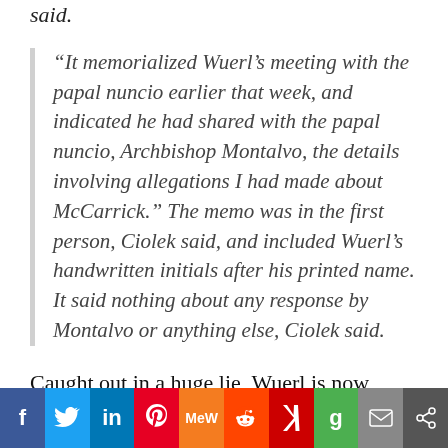said.
“It memorialized Wuerl’s meeting with the papal nuncio earlier that week, and indicated he had shared with the papal nuncio, Archbishop Montalvo, the details involving allegations I had made about McCarrick.” The memo was in the first person, Ciolek said, and included Wuerl’s handwritten initials after his printed name. It said nothing about any response by Montalvo or anything else, Ciolek said.
Caught out in a huge lie, Wuerl is now telling new lies of such pathetic Clintonian straining that they are not even worth
[Figure (infographic): Social sharing bar with icons: Facebook (f), Twitter, LinkedIn (in), Pinterest, MeWe (mw), Reddit, Flipboard (f), Google (g), Email, Share]